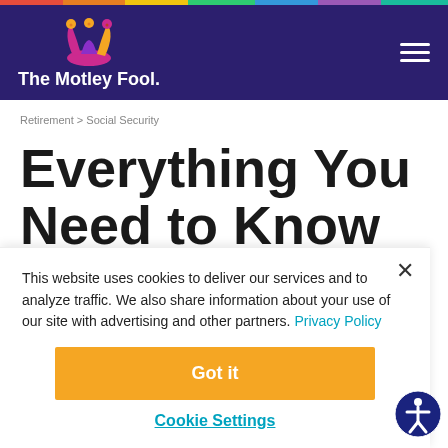The Motley Fool
Retirement > Social Security
Everything You Need to Know About Social
This website uses cookies to deliver our services and to analyze traffic. We also share information about your use of our site with advertising and other partners. Privacy Policy
Got it
Cookie Settings